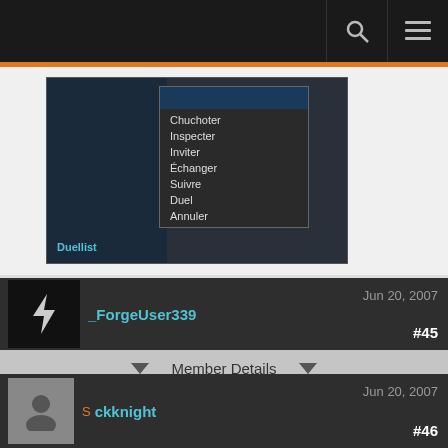[Figure (screenshot): Navigation bar with search and menu icons]
[Figure (screenshot): In-game screenshot showing a context menu with options: Chuchoter, Inspecter, Inviter, Échanger, Suivre, Duel, Annuler, with a Duellist label visible at the bottom]
_ForgeUser339
Jun 20, 2007
#45
Member Details
It would be nice to put all those layouts into a new thread, instead of starting to bloat this one :]
ckknight
Jun 20, 2007
#46